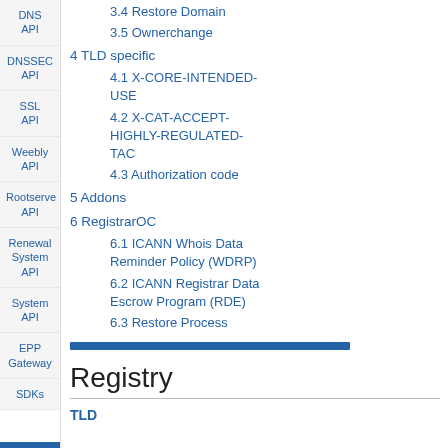DNS API
DNSSEC API
SSL API
Weebly API
Rootserve API
Renewal System API
System API
EPP Gateway
SDKs
3.4 Restore Domain
3.5 Ownerchange
4 TLD specific
4.1 X-CORE-INTENDED-USE
4.2 X-CAT-ACCEPT-HIGHLY-REGULATED-TAC
4.3 Authorization code
5 Addons
6 RegistrarOC
6.1 ICANN Whois Data Reminder Policy (WDRP)
6.2 ICANN Registrar Data Escrow Program (RDE)
6.3 Restore Process
Registry
TLD